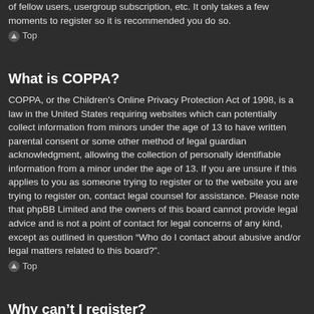of fellow users, usergroup subscription, etc. It only takes a few moments to register so it is recommended you do so.
Top
What is COPPA?
COPPA, or the Children's Online Privacy Protection Act of 1998, is a law in the United States requiring websites which can potentially collect information from minors under the age of 13 to have written parental consent or some other method of legal guardian acknowledgment, allowing the collection of personally identifiable information from a minor under the age of 13. If you are unsure if this applies to you as someone trying to register or to the website you are trying to register on, contact legal counsel for assistance. Please note that phpBB Limited and the owners of this board cannot provide legal advice and is not a point of contact for legal concerns of any kind, except as outlined in question “Who do I contact about abusive and/or legal matters related to this board?”.
Top
Why can’t I register?
It is possible a board administrator has disabled registration to prevent new visitors from signing up. A board administrator could have also banned your IP address or disallowed the username you are attempting to